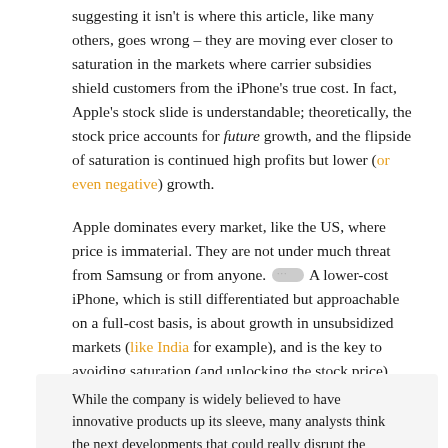suggesting it isn't is where this article, like many others, goes wrong – they are moving ever closer to saturation in the markets where carrier subsidies shield customers from the iPhone's true cost. In fact, Apple's stock slide is understandable; theoretically, the stock price accounts for future growth, and the flipside of saturation is continued high profits but lower (or even negative) growth.
Apple dominates every market, like the US, where price is immaterial. They are not under much threat from Samsung or from anyone. [•••] A lower-cost iPhone, which is still differentiated but approachable on a full-cost basis, is about growth in unsubsidized markets (like India for example), and is the key to avoiding saturation (and unlocking the stock price).
While the company is widely believed to have innovative products up its sleeve, many analysts think the next developments that could really disrupt the market – like